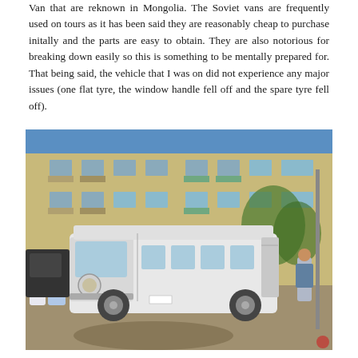Van that are reknown in Mongolia. The Soviet vans are frequently used on tours as it has been said they are reasonably cheap to purchase initally and the parts are easy to obtain. They are also notorious for breaking down easily so this is something to be mentally prepared for. That being said, the vehicle that I was on did not experience any major issues (one flat tyre, the window handle fell off and the spare tyre fell off).
[Figure (photo): Photo of a white Soviet-era UAZ van (minibus) parked in front of a beige multi-storey apartment building with balconies. Several people are loading luggage. Sunny day with blue sky visible. A woman with a backpack stands to the right.]